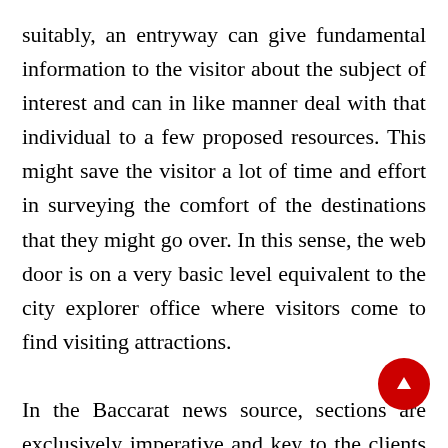suitably, an entryway can give fundamental information to the visitor about the subject of interest and can in like manner deal with that individual to a few proposed resources. This might save the visitor a lot of time and effort in surveying the comfort of the destinations that they might go over. In this sense, the web door is on a very basic level equivalent to the city explorer office where visitors come to find visiting attractions.

In the Baccarat news source, sections are exclusively imperative and key to the clients as, truly, there are basically so various Baccarat games and wagering click here to read baccarat destinations to peruse. By visiting an online Baccarat passage, the